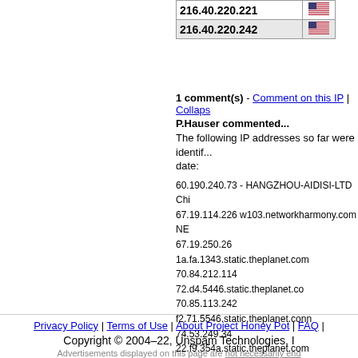| IP | Flag |
| --- | --- |
| 216.40.220.221 | 🇺🇸 |
| 216.40.220.242 | 🇺🇸 |
1 comment(s) - Comment on this IP | Collaps...
P.Hauser commented...
The following IP addresses so far were identified by date:
60.190.240.73 - HANGZHOU-AIDISI-LTD Chi...
67.19.114.226 w103.networkharmony.com NE...
67.19.250.26 1a.fa.1343.static.theplanet.com...
70.84.212.114 72.d4.5446.static.theplanet.co...
70.85.113.242 f2.71.5546.static.theplanet.conn...
74.53.249.34 22.f9.354a.static.theplanet.com...
74.86.14.10 atsconnect.net SOFTLAYER-4-4...
74.86.209.74 templatestill.com SOFTLAYER-...
74.86.249.98 westhoste.net SOFTLAYER-4-4...
75.125.18.178 ev1s-75-125-18-178.ev1server...
75.125.47.162 ev1s-75-125-47-162.ev1server...
208.101.44.3 mybluewine.net SOFTLAYER-4...
216.40.222.50 ev1s-216-40-222-50.ev1server...
216.40.222.66 ev1s-216-40-222-66.ev1server...
216.40.222.98 ev1s-216-40-222-98.ev1server...
LiteFinder.net-IPs might be subject to change.
December 06 2007 03:35 PM
Privacy Policy | Terms of Use | About Project Honey Pot | FAQ | Copyright © 2004–22, Unspam Technologies, I... Advertisements displayed on this page are not necessarily end...